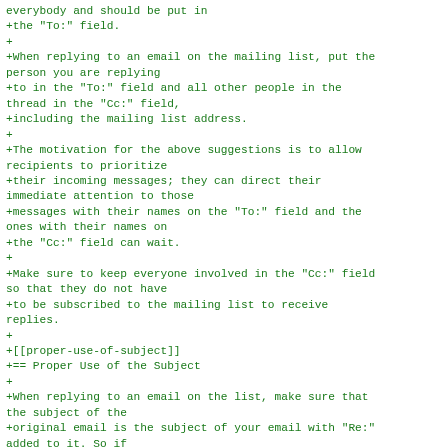everybody and should be put in
+the "To:" field.
+
+When replying to an email on the mailing list, put the person you are replying
+to in the "To:" field and all other people in the thread in the "Cc:" field,
+including the mailing list address.
+
+The motivation for the above suggestions is to allow recipients to prioritize
+their incoming messages; they can direct their immediate attention to those
+messages with their names on the "To:" field and the ones with their names on
+the "Cc:" field can wait.
+
+Make sure to keep everyone involved in the "Cc:" field so that they do not have
+to be subscribed to the mailing list to receive replies.
+
+[[proper-use-of-subject]]
+== Proper Use of the Subject
+
+When replying to an email on the list, make sure that the subject of the
+original email is the subject of your email with "Re:" added to it. So if
+you reply to an email with subject "first post", the
subject of your email